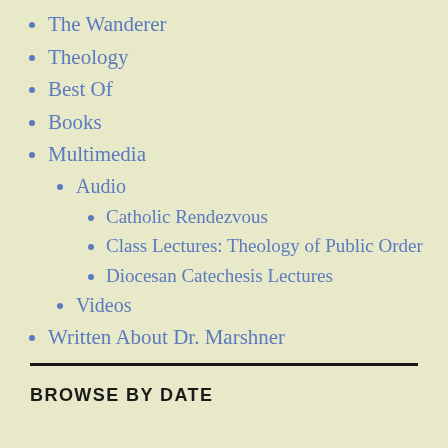The Wanderer
Theology
Best Of
Books
Multimedia
Audio
Catholic Rendezvous
Class Lectures: Theology of Public Order
Diocesan Catechesis Lectures
Videos
Written About Dr. Marshner
BROWSE BY DATE